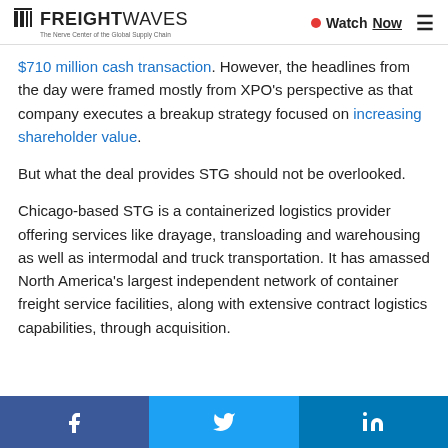FREIGHTWAVES — The Nerve Center of the Global Supply Chain | Watch Now
$710 million cash transaction. However, the headlines from the day were framed mostly from XPO's perspective as that company executes a breakup strategy focused on increasing shareholder value.
But what the deal provides STG should not be overlooked.
Chicago-based STG is a containerized logistics provider offering services like drayage, transloading and warehousing as well as intermodal and truck transportation. It has amassed North America's largest independent network of container freight service facilities, along with extensive contract logistics capabilities, through acquisition.
Facebook | Twitter | LinkedIn